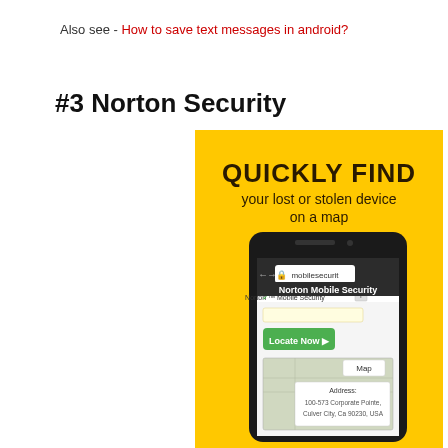Also see - How to save text messages in android?
#3 Norton Security
[Figure (screenshot): Norton Security app advertisement showing a smartphone with 'QUICKLY FIND your lost or stolen device on a map' text on a yellow background, with a browser showing 'Norton Mobile Security' and a 'Locate Now' button on screen]